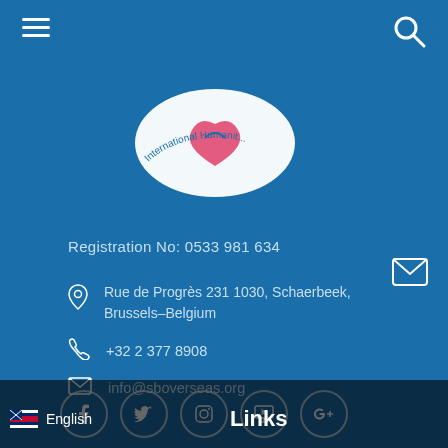[Figure (logo): Partial circular logo with text 'International Humanit...' visible at top]
Registration No: 0533 981 634
Rue de Progrès 231 1030, Schaerbeek, Brussels–Belgium
+32 2 377 8908
info@sboverseas.org
[Figure (illustration): Row of 5 social media icon circles: Facebook, Twitter, Instagram, YouTube/TV, Google+]
Quick Links
English